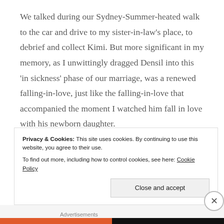We talked during our Sydney-Summer-heated walk to the car and drive to my sister-in-law’s place, to debrief and collect Kimi. But more significant in my memory, as I unwittingly dragged Densil into this ‘in sickness’ phase of our marriage, was a renewed falling-in-love, just like the falling-in-love that accompanied the moment I watched him fall in love with his newborn daughter.
We greeted Densil’s sister (who is also a longtime friend and a GP, amongst other things) with our news and sat
Privacy & Cookies: This site uses cookies. By continuing to use this website, you agree to their use.
To find out more, including how to control cookies, see here: Cookie Policy
Close and accept
Advertisements